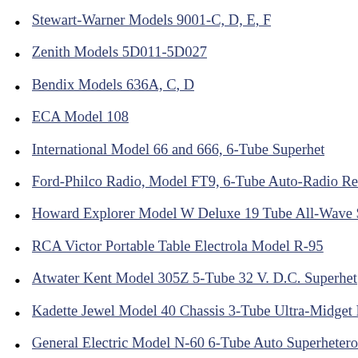Stewart-Warner Models 9001-C, D, E, F
Zenith Models 5D011-5D027
Bendix Models 636A, C, D
ECA Model 108
International Model 66 and 666, 6-Tube Superhet
Ford-Philco Radio, Model FT9, 6-Tube Auto-Radio Receiver
Howard Explorer Model W Deluxe 19 Tube All-Wave Superhet
RCA Victor Portable Table Electrola Model R-95
Atwater Kent Model 305Z 5-Tube 32 V. D.C. Superhet
Kadette Jewel Model 40 Chassis 3-Tube Ultra-Midget Receiver
General Electric Model N-60 6-Tube Auto Superheterodyne